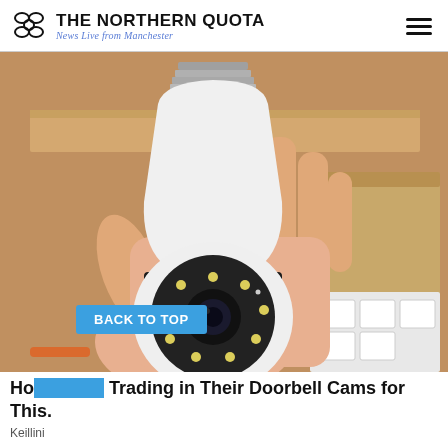THE NORTHERN QUOTA — News Live from Manchester
[Figure (photo): Hand holding a white security camera shaped like a light bulb with a metal screw-base top (E27 socket), black rotating middle section, and a camera dome with multiple LED lights arranged in a circle around the lens. Background shows a cardboard box and packaged items.]
BACK TO TOP
Ho... Trading in Their Doorbell Cams for This.
Keillini